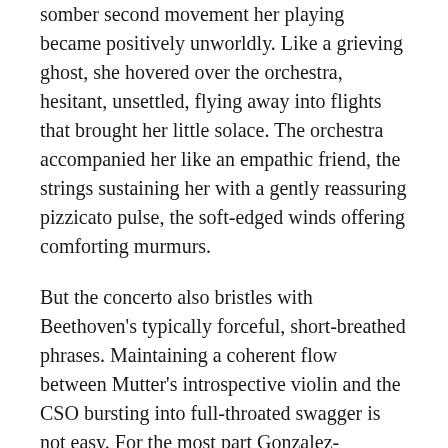somber second movement her playing became positively unworldly. Like a grieving ghost, she hovered over the orchestra, hesitant, unsettled, flying away into flights that brought her little solace. The orchestra accompanied her like an empathic friend, the strings sustaining her with a gently reassuring pizzicato pulse, the soft-edged winds offering comforting murmurs.
But the concerto also bristles with Beethoven’s typically forceful, short-breathed phrases. Maintaining a coherent flow between Mutter’s introspective violin and the CSO bursting into full-throated swagger is not easy. For the most part Gonzalez-Granados succeeded admirably. Throughout the concerto, she emphasized the lyrical sweep of Beethoven’s music, integrating its shifting emotions into a cohesive whole.